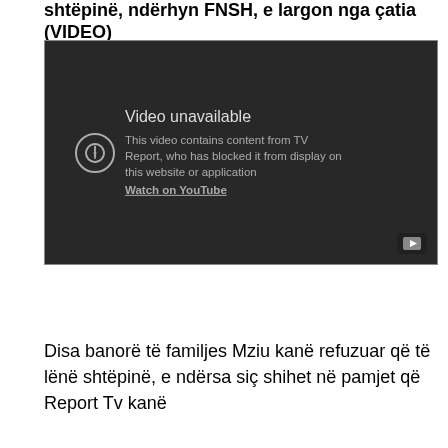shtëpinë, ndërhyn FNSH, e largon nga çatia (VIDEO)
[Figure (screenshot): Embedded YouTube video player showing 'Video unavailable' message. Text reads: 'This video contains content from TV Report, who has blocked it from display on this website or application' with a 'Watch on YouTube' link.]
Disa banorë të familjes Mziu kanë refuzuar që të lënë shtëpinë, e ndërsa siç shihet në pamjet që Report Tv kanë